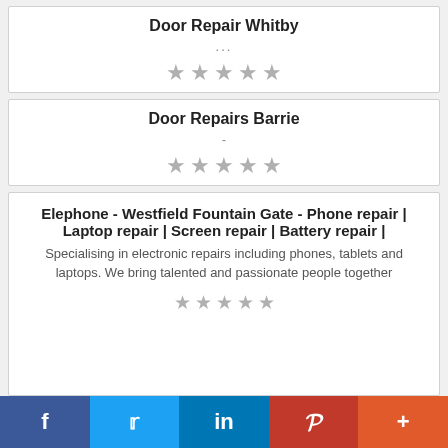Door Repair Whitby
...
[Figure (other): 5 grey stars rating]
Door Repairs Barrie
-
[Figure (other): 5 grey stars rating]
Elephone - Westfield Fountain Gate - Phone repair | Laptop repair | Screen repair | Battery repair |
Specialising in electronic repairs including phones, tablets and laptops. We bring talented and passionate people together
[Figure (other): 5 grey stars rating (partial view)]
f  (Twitter bird)  in  P  +